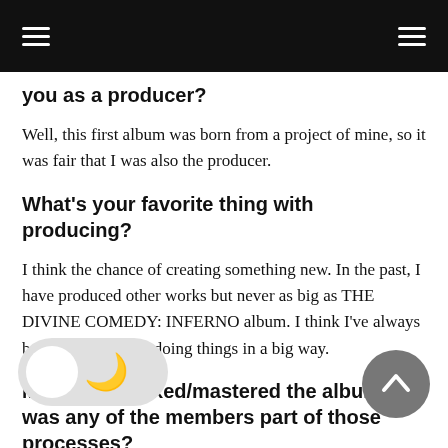you as a producer?
Well, this first album was born from a project of mine, so it was fair that I was also the producer.
What’s your favorite thing with producing?
I think the chance of creating something new. In the past, I have produced other works but never as big as THE DIVINE COMEDY: INFERNO album. I think I’ve always been excited about doing things in a big way.
M so mixed/mastered the album, was any of the members part of those processes?